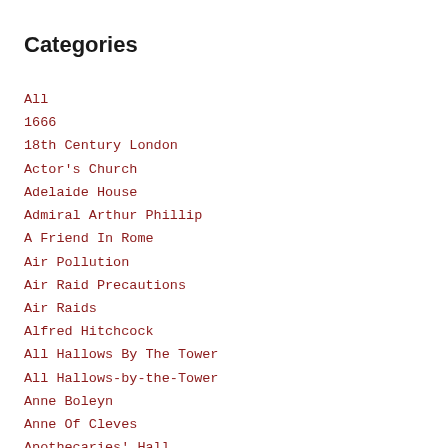Categories
All
1666
18th Century London
Actor's Church
Adelaide House
Admiral Arthur Phillip
A Friend In Rome
Air Pollution
Air Raid Precautions
Air Raids
Alfred Hitchcock
All Hallows By The Tower
All Hallows-by-the-Tower
Anne Boleyn
Anne Of Cleves
Apothecaries' Hall